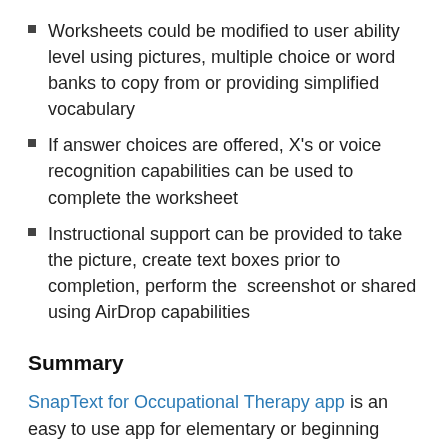Worksheets could be modified to user ability level using pictures, multiple choice or word banks to copy from or providing simplified vocabulary
If answer choices are offered, X's or voice recognition capabilities can be used to complete the worksheet
Instructional support can be provided to take the picture, create text boxes prior to completion, perform the  screenshot or shared using AirDrop capabilities
Summary
SnapText for Occupational Therapy app is an easy to use app for elementary or beginning writers who can use a keyboard, but infrequently need to complete worksheets. Its intuitive tools and ease of use provides students a method of producing text on worksheets with few steps. For those who need to complete worksheets more